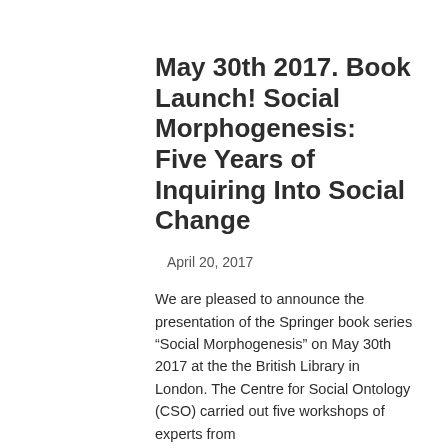May 30th 2017. Book Launch! Social Morphogenesis: Five Years of Inquiring Into Social Change
April 20, 2017
We are pleased to announce the presentation of the Springer book series “Social Morphogenesis” on May 30th 2017 at the the British Library in London. The Centre for Social Ontology (CSO) carried out five workshops of experts from